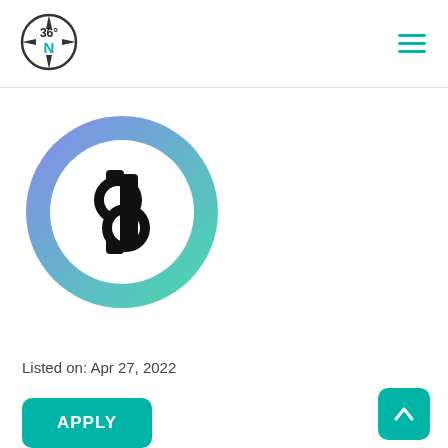[Figure (logo): 36N compass logo in header, top left]
[Figure (logo): Hamburger menu icon (three teal horizontal lines), top right]
[Figure (logo): Company logo: circular gradient ring (blue to green) with a black 'db' or 'qp' symbol inside on white background]
Listed on: Apr 27, 2022
APPLY